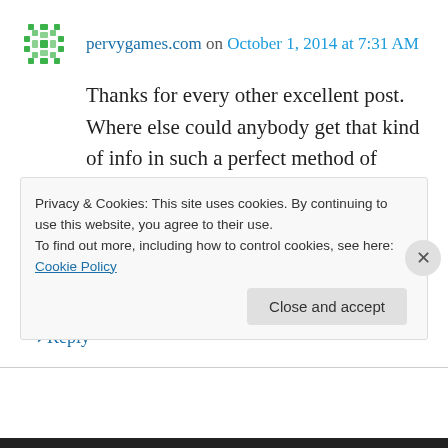pervygames.com on October 1, 2014 at 7:31 AM
Thanks for every other excellent post. Where else could anybody get that kind of info in such a perfect method of writing?

I have a presentation next week, and I am at the look for such information.
↳ Reply
Privacy & Cookies: This site uses cookies. By continuing to use this website, you agree to their use.
To find out more, including how to control cookies, see here: Cookie Policy
Close and accept